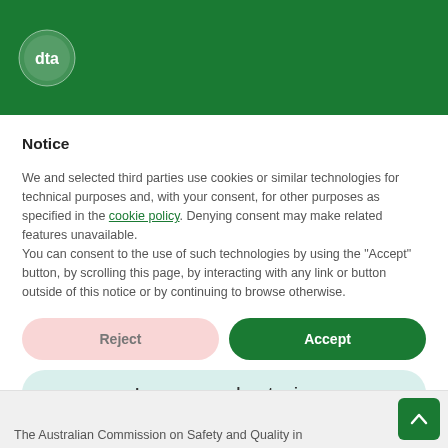[Figure (logo): DTA logo — white circular badge with 'dta' text on dark green header bar]
Notice
We and selected third parties use cookies or similar technologies for technical purposes and, with your consent, for other purposes as specified in the cookie policy. Denying consent may make related features unavailable.
You can consent to the use of such technologies by using the "Accept" button, by scrolling this page, by interacting with any link or button outside of this notice or by continuing to browse otherwise.
Reject
Accept
Learn more and customize
The Australian Commission on Safety and Quality in